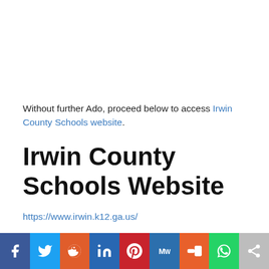Without further Ado, proceed below to access Irwin County Schools website.
Irwin County Schools Website
https://www.irwin.k12.ga.us/
[Figure (other): Social media share bar with icons for Facebook, Twitter, Reddit, LinkedIn, Pinterest, MeWe, Mix, WhatsApp, and generic share]